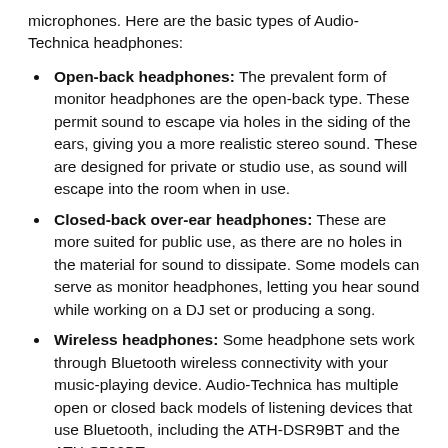microphones. Here are the basic types of Audio-Technica headphones:
Open-back headphones: The prevalent form of monitor headphones are the open-back type. These permit sound to escape via holes in the siding of the ears, giving you a more realistic stereo sound. These are designed for private or studio use, as sound will escape into the room when in use.
Closed-back over-ear headphones: These are more suited for public use, as there are no holes in the material for sound to dissipate. Some models can serve as monitor headphones, letting you hear sound while working on a DJ set or producing a song.
Wireless headphones: Some headphone sets work through Bluetooth wireless connectivity with your music-playing device. Audio-Technica has multiple open or closed back models of listening devices that use Bluetooth, including the ATH-DSR9BT and the ATH-S700BT.
Studio monitors: These choices are generally over-ear and open-back. They have a flatter frequency response to aid audio technicians and sound mixers.
In-ear headphones: These are lightweight portable